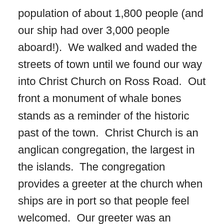population of about 1,800 people (and our ship had over 3,000 people aboard!).  We walked and waded the streets of town until we found our way into Christ Church on Ross Road.  Out front a monument of whale bones stands as a reminder of the historic past of the town.  Christ Church is an anglican congregation, the largest in the islands.  The congregation provides a greeter at the church when ships are in port so that people feel welcomed.  Our greeter was an elderly member of the church council and also chairman of the board of the museum.  The church building inside looks to be fairly modern. Decorations on the side walls included memorials to people lost at sea over the last one hundred years or so.  The plaques were a sober reminder to the dangers of the sea and the extreme conditions in that part of the world. Each memorial was a story or hope and heartbreak, of life and